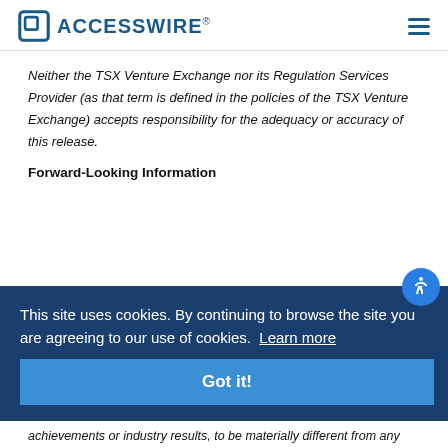ACCESSWIRE
Neither the TSX Venture Exchange nor its Regulation Services Provider (as that term is defined in the policies of the TSX Venture Exchange) accepts responsibility for the adequacy or accuracy of this release.
Forward-Looking Information
This site uses cookies. By continuing to browse the site you are agreeing to our use of cookies. Learn more
achievements or industry results, to be materially different from any